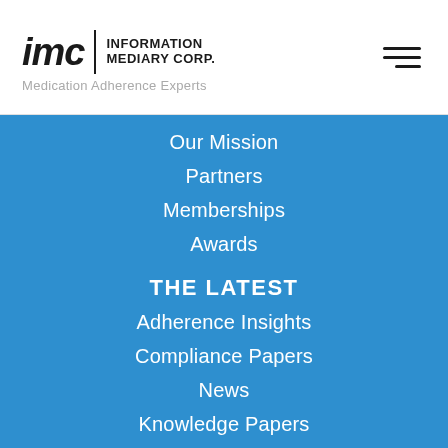[Figure (logo): IMC Information Mediary Corp. logo with tagline Medication Adherence Experts]
Our Mission
Partners
Memberships
Awards
THE LATEST
Adherence Insights
Compliance Papers
News
Knowledge Papers
Events
IDI SEZC LEADERSHIP TEAM